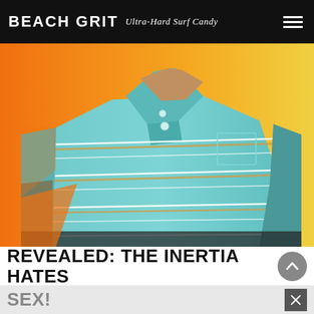BEACH GRIT Ultra-Hard Surf Candy
[Figure (photo): Close-up torso shot of a man wearing a light blue and white striped polo shirt against an orange-yellow gradient background]
REVEALED: THE INERTIA HATES SEX!